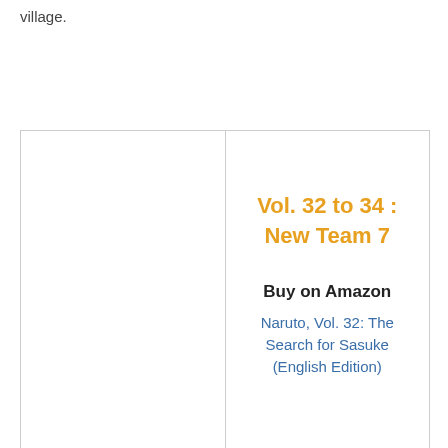village.
|  |  |
| --- | --- |
|  | Vol. 32 to 34 : New Team 7

Buy on Amazon
Naruto, Vol. 32: The Search for Sasuke (English Edition) |